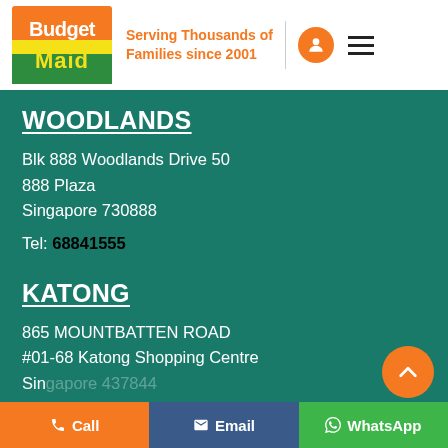[Figure (logo): Budget Maid logo with orange and green colors]
Serving Thousands of Families since 2001
WOODLANDS
Blk 888 Woodlands Drive 50
888 Plaza
Singapore 730888
Tel: 68841555
KATONG
865 MOUNTBATTEN ROAD
#01-68 Katong Shopping Centre
Singapore 437844
Call | Email | WhatsApp